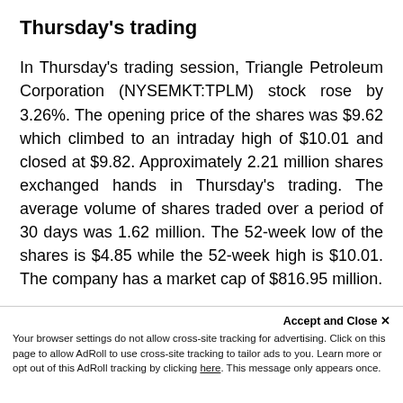Thursday's trading
In Thursday's trading session, Triangle Petroleum Corporation (NYSEMKT:TPLM) stock rose by 3.26%. The opening price of the shares was $9.62 which climbed to an intraday high of $10.01 and closed at $9.82. Approximately 2.21 million shares exchanged hands in Thursday's trading. The average volume of shares traded over a period of 30 days was 1.62 million. The 52-week low of the shares is $4.85 while the 52-week high is $10.01. The company has a market cap of $816.95 million.
Accept and Close ✕ Your browser settings do not allow cross-site tracking for advertising. Click on this page to allow AdRoll to use cross-site tracking to tailor ads to you. Learn more or opt out of this AdRoll tracking by clicking here. This message only appears once.